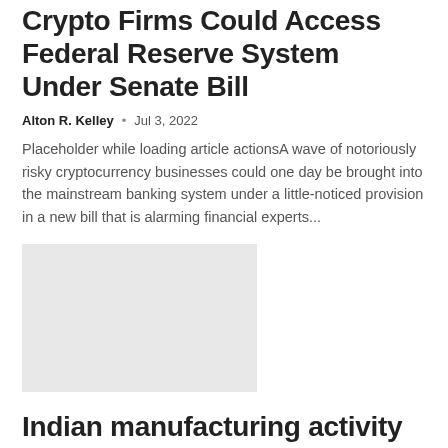Crypto Firms Could Access Federal Reserve System Under Senate Bill
Alton R. Kelley · Jul 3, 2022
Placeholder while loading article actionsA wave of notoriously risky cryptocurrency businesses could one day be brought into the mainstream banking system under a little-noticed provision in a new bill that is alarming financial experts...
[Figure (photo): Gray placeholder image rectangle]
Indian manufacturing activity